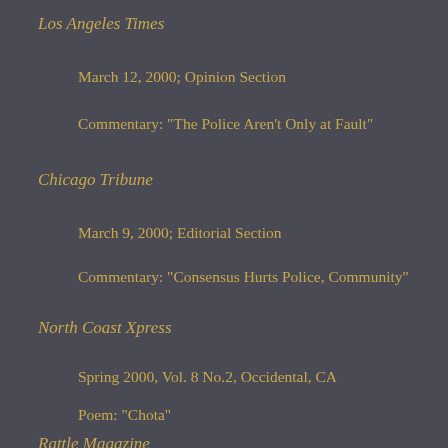Los Angeles Times
March 12, 2000; Opinion Section
Commentary: "The Police Aren't Only at Fault"
Chicago Tribune
March 9, 2000; Editorial Section
Commentary: "Consensus Hurts Police, Community"
North Coast Xpress
Spring 2000, Vol. 8 No.2, Occidental, CA
Poem: "Chota"
Rattle Magazine